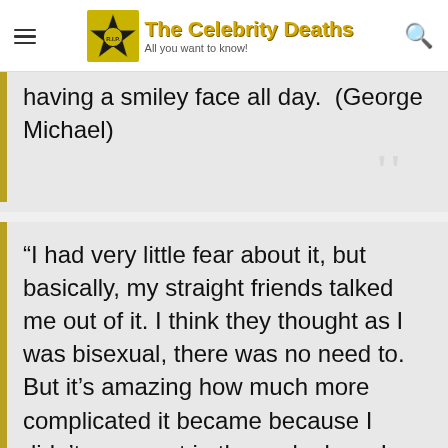The Celebrity Deaths — All you want to know!
having a smiley face all day.  (George Michael)
“I had very little fear about it, but basically, my straight friends talked me out of it. I think they thought as I was bisexual, there was no need to. But it’s amazing how much more complicated it became because I didn’t come out in the early days. I often wonder if my career